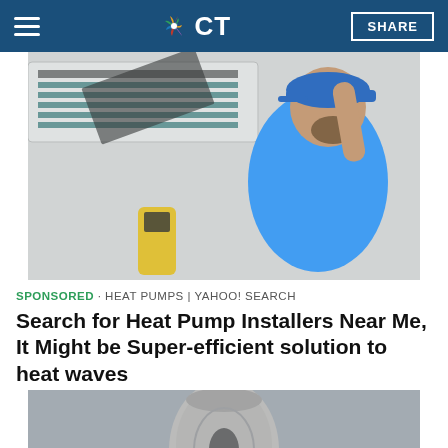NBC CT — SHARE
[Figure (photo): A man in a blue cap and blue t-shirt servicing a wall-mounted air conditioning unit, with a yellow diagnostic tool below]
SPONSORED · HEAT PUMPS | YAHOO! SEARCH
Search for Heat Pump Installers Near Me, It Might be Super-efficient solution to heat waves
[Figure (photo): Close-up of a white outdoor heat pump / HVAC unit from a low angle]